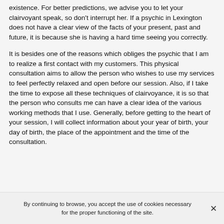existence. For better predictions, we advise you to let your clairvoyant speak, so don't interrupt her. If a psychic in Lexington does not have a clear view of the facts of your present, past and future, it is because she is having a hard time seeing you correctly.
It is besides one of the reasons which obliges the psychic that I am to realize a first contact with my customers. This physical consultation aims to allow the person who wishes to use my services to feel perfectly relaxed and open before our session. Also, if I take the time to expose all these techniques of clairvoyance, it is so that the person who consults me can have a clear idea of the various working methods that I use. Generally, before getting to the heart of your session, I will collect information about your year of birth, your day of birth, the place of the appointment and the time of the consultation.
By continuing to browse, you accept the use of cookies necessary for the proper functioning of the site.